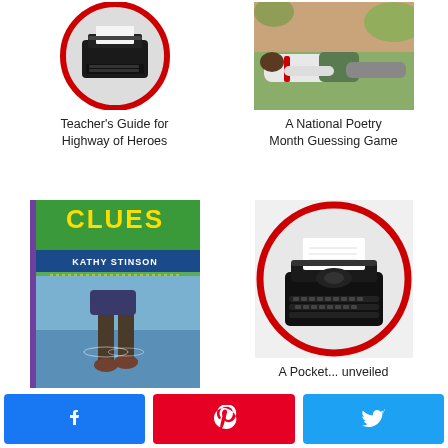[Figure (photo): Typewriter inside a red circle border, top left card thumbnail]
Teacher's Guide for Highway of Heroes
[Figure (photo): Person lying in grass/outdoor scene, top right card thumbnail]
A National Poetry Month Guessing Game
[Figure (photo): Book cover: CLUES by Kathy Stinson showing child wading in water]
Summer Reading Excerpt #4
[Figure (photo): Typewriter inside a red circle border, bottom right card thumbnail]
A Pocket... unveiled
Facebook share | Pinterest share | Twitter share